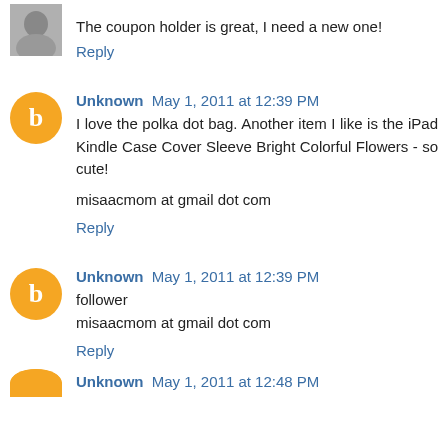The coupon holder is great, I need a new one!
Reply
Unknown May 1, 2011 at 12:39 PM
I love the polka dot bag. Another item I like is the iPad Kindle Case Cover Sleeve Bright Colorful Flowers - so cute!
misaacmom at gmail dot com
Reply
Unknown May 1, 2011 at 12:39 PM
follower
misaacmom at gmail dot com
Reply
Unknown May 1, 2011 at 12:48 PM